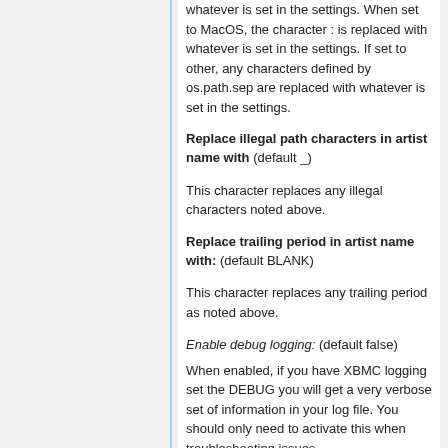whatever is set in the settings. When set to MacOS, the character : is replaced with whatever is set in the settings. If set to other, any characters defined by os.path.sep are replaced with whatever is set in the settings.
Replace illegal path characters in artist name with (default _) This character replaces any illegal characters noted above.
Replace trailing period in artist name with: (default BLANK) This character replaces any trailing period as noted above.
Enable debug logging: (default false) When enabled, if you have XBMC logging set the DEBUG you will get a very verbose set of information in your log file. You should only need to activate this when troubleshooting issues.